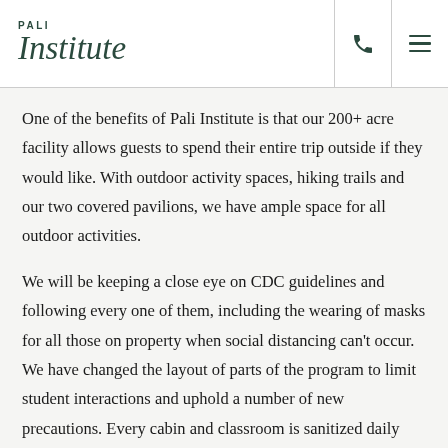PALI Institute
One of the benefits of Pali Institute is that our 200+ acre facility allows guests to spend their entire trip outside if they would like. With outdoor activity spaces, hiking trails and our two covered pavilions, we have ample space for all outdoor activities.
We will be keeping a close eye on CDC guidelines and following every one of them, including the wearing of masks for all those on property when social distancing can't occur. We have changed the layout of parts of the program to limit student interactions and uphold a number of new precautions. Every cabin and classroom is sanitized daily and deep cleaned after each use. The Huckleberry Hall, which serves as our dining hall and main meeting space, is cleaned and sanitized 3